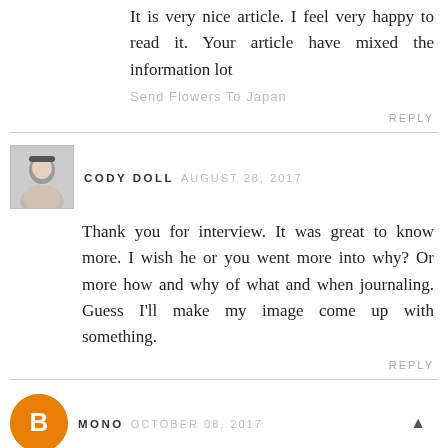It is very nice article. I feel very happy to read it. Your article have mixed the information lot
Send Flowers To Japan
REPLY
[Figure (photo): Square avatar photo of Cody Doll, a woman]
CODY DOLL AUGUST 28, 2017
Thank you for interview. It was great to know more. I wish he or you went more into why? Or more how and why of what and when journaling. Guess I'll make my image come up with something.
REPLY
[Figure (logo): Round orange avatar with blogger B icon for user Mono]
MONO OCTOBER 08, 2017
its a great interview. we know much. Thanks a lot for such a long and informative post.